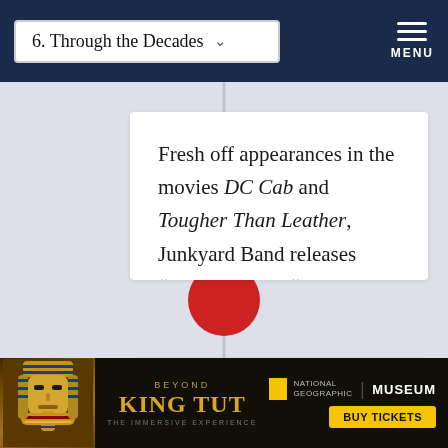6. Through the Decades  MENU
Fresh off appearances in the movies DC Cab and Tougher Than Leather, Junkyard Band releases “Sardines” and “The Word” on Def Jam.
[Figure (infographic): Timeline vertical line with red circular dot marker separating two timeline cards]
1986
[Figure (infographic): Beyond King Tut: The Immersive Experience advertisement banner. National Geographic Museum. Buy Tickets button.]